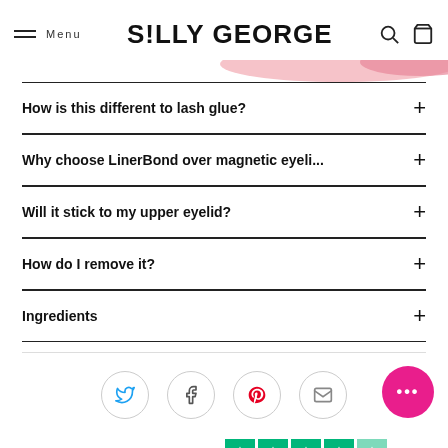Menu | S!LLY GEORGE
How is this different to lash glue?
Why choose LinerBond over magnetic eyeli...
Will it stick to my upper eyelid?
How do I remove it?
Ingredients
[Figure (infographic): Social sharing icons: Twitter, Facebook, Pinterest, Email — each in a light grey circle]
Check out our 441 reviews